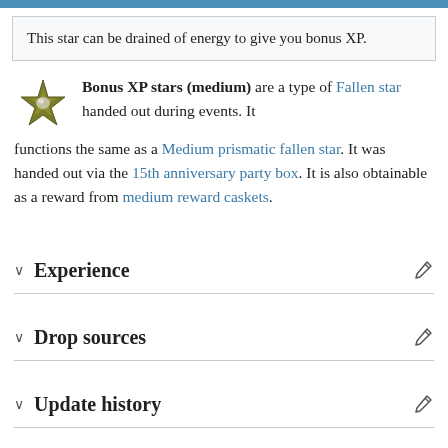This star can be drained of energy to give you bonus XP.
Bonus XP stars (medium) are a type of Fallen star handed out during events. It functions the same as a Medium prismatic fallen star. It was handed out via the 15th anniversary party box. It is also obtainable as a reward from medium reward caskets.
Experience
Drop sources
Update history